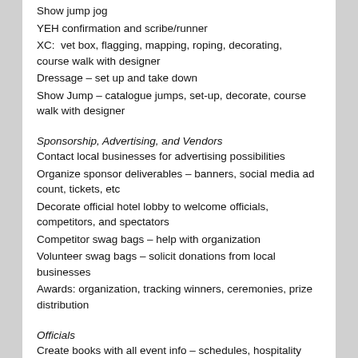Show jump jog
YEH confirmation and scribe/runner
XC:  vet box, flagging, mapping, roping, decorating, course walk with designer
Dressage – set up and take down
Show Jump – catalogue jumps, set-up, decorate, course walk with designer
Sponsorship, Advertising, and Vendors
Contact local businesses for advertising possibilities
Organize sponsor deliverables – banners, social media ad count, tickets, etc
Decorate official hotel lobby to welcome officials, competitors, and spectators
Competitor swag bags – help with organization
Volunteer swag bags – solicit donations from local businesses
Awards: organization, tracking winners, ceremonies, prize distribution
Officials
Create books with all event info – schedules, hospitality